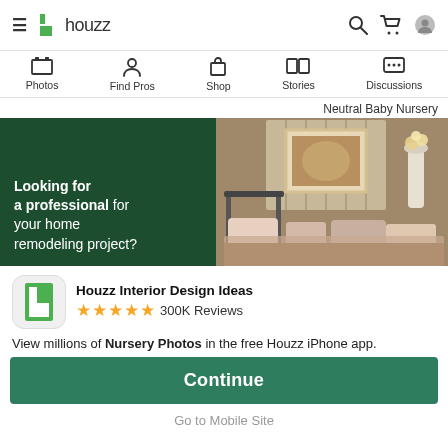≡  h houzz  🔍 🛒 👤
Photos  Find Pros  Shop  Stories  Discussions
Neutral Baby Nursery
[Figure (photo): Left: dark green card with text 'Looking for a professional for your home remodeling project?'. Right: nursery bedroom photo with iron bed, pillows, rustic wooden headboard, framed art, and white vase with flowers.]
Houzz Interior Design Ideas  ★★★★★ 300K Reviews
View millions of Nursery Photos in the free Houzz iPhone app.
Continue
Go to Mobile Site